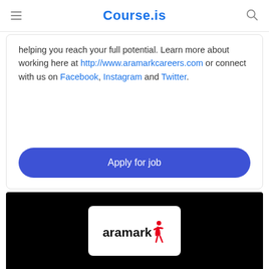Course.is
helping you reach your full potential. Learn more about working here at http://www.aramarkcareers.com or connect with us on Facebook, Instagram and Twitter.
Apply for job
[Figure (logo): Aramark logo on black background — white rounded rectangle containing the word 'aramark' in bold dark text with a red star/figure icon to the right]